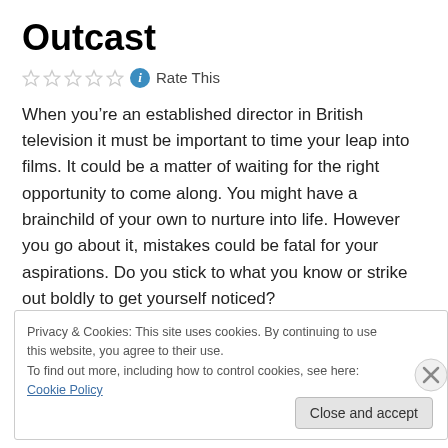Outcast
[Figure (other): Five empty star rating icons followed by a blue info circle icon and 'Rate This' text]
When you’re an established director in British television it must be important to time your leap into films. It could be a matter of waiting for the right opportunity to come along. You might have a brainchild of your own to nurture into life. However you go about it, mistakes could be fatal for your aspirations. Do you stick to what you know or strike out boldly to get yourself noticed?
Privacy & Cookies: This site uses cookies. By continuing to use this website, you agree to their use.
To find out more, including how to control cookies, see here: Cookie Policy
Close and accept